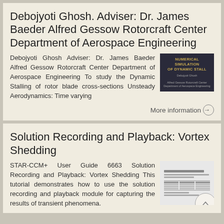Debojyoti Ghosh. Adviser: Dr. James Baeder Alfred Gessow Rotorcraft Center Department of Aerospace Engineering
Debojyoti Ghosh Adviser: Dr. James Baeder Alfred Gessow Rotorcraft Center Department of Aerospace Engineering To study the Dynamic Stalling of rotor blade cross-sections Unsteady Aerodynamics: Time varying
[Figure (photo): Thumbnail image of a document cover with dark background and gold/yellow title text reading 'NUMERICAL SIMULATION OF DYNAMIC STALL']
More information →
Solution Recording and Playback: Vortex Shedding
STAR-CCM+ User Guide 6663 Solution Recording and Playback: Vortex Shedding This tutorial demonstrates how to use the solution recording and playback module for capturing the results of transient phenomena.
[Figure (screenshot): Thumbnail image of a document page with text lines and a table, representing a STAR-CCM+ user guide page]